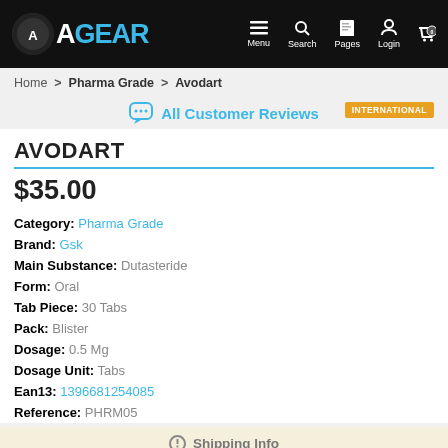AGEAR — Menu, Search, Pages, Login, Cart
Home > Pharma Grade > Avodart
All Customer Reviews  INTERNATIONAL
AVODART
$35.00
Category: Pharma Grade
Brand: Gsk
Main Substance: Dutasteride
Form: Oral
Tab Piece: 30 Tabs
Pack: Blister
Dosage: 0.5 Mg
Dosage Unit: Tabs
Ean13: 1396681254085
Reference: PHRM05
Shipping Info